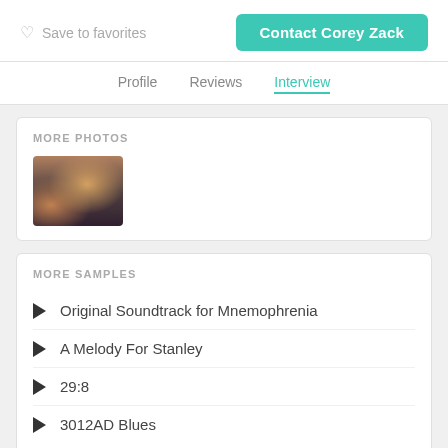Save to favorites
Contact Corey Zack
Profile   Reviews   Interview
MORE PHOTOS
[Figure (photo): Thumbnail photo showing a person in a studio or room with warm lighting and equipment.]
MORE SAMPLES
Original Soundtrack for Mnemophrenia
A Melody For Stanley
29:8
3012AD Blues